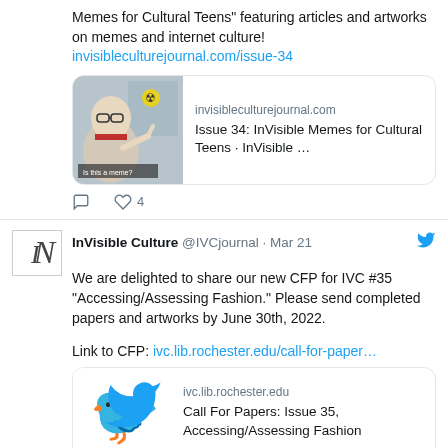Memes for Cultural Teens" featuring articles and artworks on memes and internet culture!
invisibleculturejournal.com/issue-34
[Figure (screenshot): Link card with meme image (boy with glasses gesturing), showing invisibleculturejournal.com and 'Issue 34: InVisible Memes for Cultural Teens · InVisible ...']
4 likes
InVisible Culture @IVCjournal · Mar 21
We are delighted to share our new CFP for IVC #35 "Accessing/Assessing Fashion." Please send completed papers and artworks by June 30th, 2022.
Link to CFP: ivc.lib.rochester.edu/call-for-paper...
[Figure (screenshot): Link card with Twitter bird logo, showing ivc.lib.rochester.edu and 'Call For Papers: Issue 35, Accessing/Assessing Fashion']